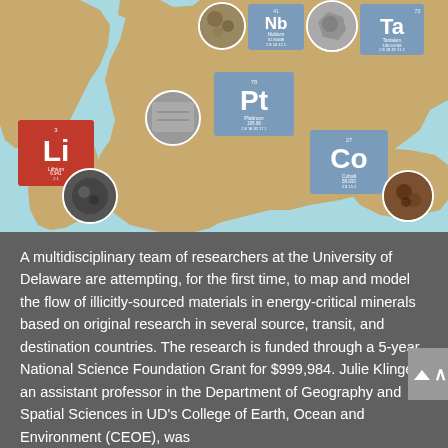[Figure (infographic): World map infographic showing critical minerals (Lithium, Platinum, Cobalt, Niobium, Tantalum) plotted by geographic location with periodic table element tiles and circular mineral photos.]
A multidisciplinary team of researchers at the University of Delaware are attempting, for the first time, to map and model the flow of illicitly-sourced materials in energy-critical minerals based on original research in several source, transit, and destination countries. The research is funded through a 5-year National Science Foundation Grant for $999,984. Julie Klinger, an assistant professor in the Department of Geography and Spatial Sciences in UD's College of Earth, Ocean and Environment (CEOE), was